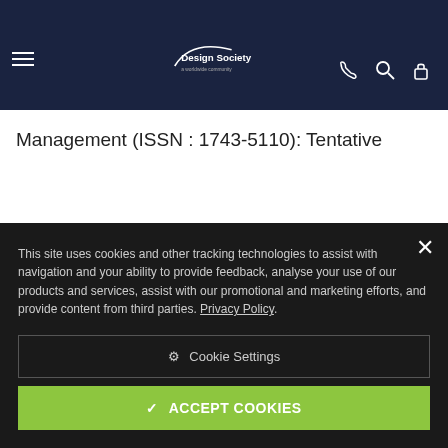Design Society — worldwide community
Management (ISSN : 1743-5110): Tentative
This site uses cookies and other tracking technologies to assist with navigation and your ability to provide feedback, analyse your use of our products and services, assist with our promotional and marketing efforts, and provide content from third parties. Privacy Policy.
⚙ Cookie Settings
✔ ACCEPT COOKIES